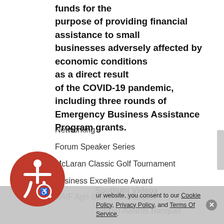funds for the purpose of providing financial assistance to small businesses adversely affected by economic conditions as a direct result of the COVID-19 pandemic, including three rounds of Emergency Business Assistance Program grants.
Networking
Forum Speaker Series
McLaran Classic Golf Tournament
Business Excellence Award
SAIF Agri-Business Banquet
Citizen Awards Banquet
dar
Spotlight Videos
ur website, you consent to our Cookie Policy, Privacy Policy, and Terms Of Service.